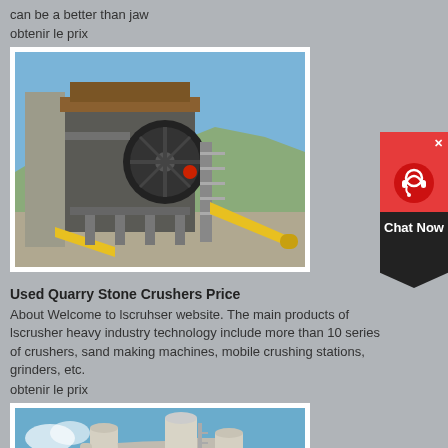can be a better than jaw
obtenir le prix
[Figure (photo): Industrial jaw crusher or stone crushing plant on a construction/quarry site with metal frames, conveyor belts, and machinery against a blue sky with mountains in background.]
Used Quarry Stone Crushers Price
About Welcome to lscruhser website. The main products of lscrusher heavy industry technology include more than 10 series of crushers, sand making machines, mobile crushing stations, grinders, etc.
obtenir le prix
[Figure (photo): Industrial white cylindrical equipment (possibly grinding mills or dust collectors) against a blue sky, shown at bottom of page.]
[Figure (screenshot): Red and dark chat widget button with headset icon and 'Chat Now' text on the right side of the page.]